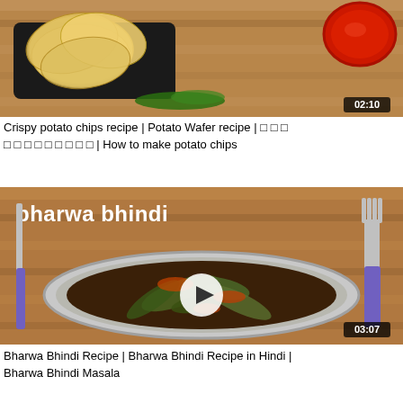[Figure (screenshot): Video thumbnail showing crispy potato chips/wafers on a dark tray with red sauce, on a wooden surface. Duration badge shows 02:10.]
Crispy potato chips recipe | Potato Wafer recipe | □ □ □ □ □ □ □ □ □ □ □ □ | How to make potato chips
[Figure (screenshot): Video thumbnail showing bharwa bhindi (stuffed okra) dish in a steel plate with knife and fork, text overlay 'bharwa bhindi' and play button. Duration badge shows 03:07.]
Bharwa Bhindi Recipe | Bharwa Bhindi Recipe in Hindi | Bharwa Bhindi Masala